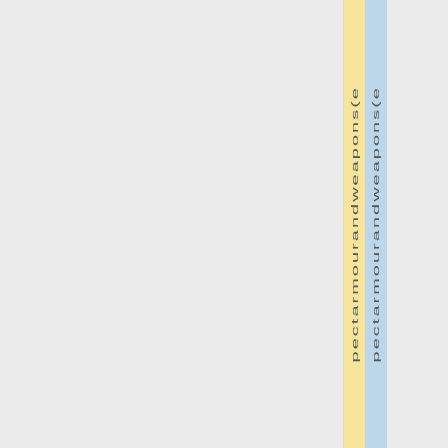| pectarmourandweapons(e | pectarmourandweapons(e |